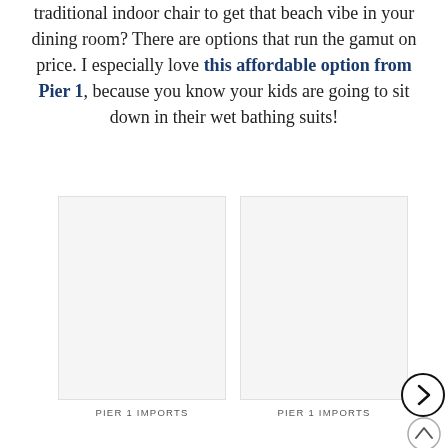traditional indoor chair to get that beach vibe in your dining room? There are options that run the gamut on price. I especially love this affordable option from Pier 1, because you know your kids are going to sit down in their wet bathing suits!
[Figure (photo): Two side-by-side product image placeholders from Pier 1 Imports, both light gray rectangles. A right-arrow navigation button overlaps the right side. Each image is labeled 'PIER 1 IMPORTS' below.]